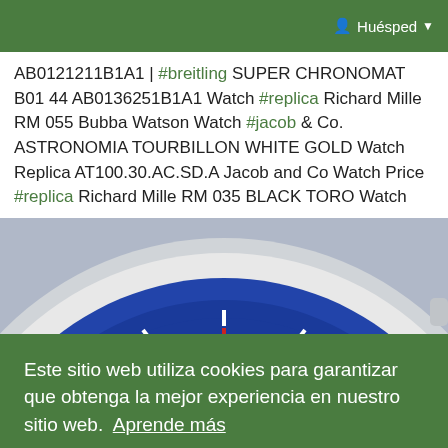Huésped
AB0121211B1A1 | #breitling SUPER CHRONOMAT B01 44 AB0136251B1A1 Watch #replica Richard Mille RM 055 Bubba Watson Watch #jacob & Co. ASTRONOMIA TOURBILLON WHITE GOLD Watch Replica AT100.30.AC.SD.A Jacob and Co Watch Price #replica Richard Mille RM 035 BLACK TORO Watch
[Figure (photo): Close-up photo of a Breitling chronometer watch face with blue dial, red hands, white subdials, and tachymeter bezel]
Este sitio web utiliza cookies para garantizar que obtenga la mejor experiencia en nuestro sitio web. Aprende más
¡Lo tengo!